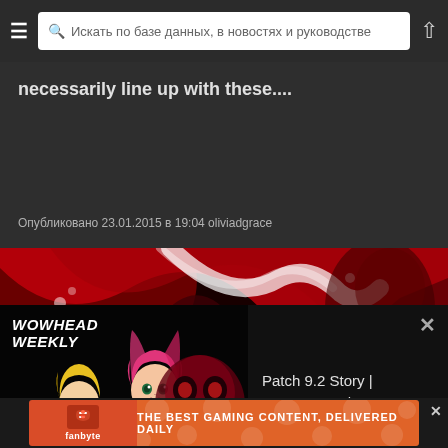Искать по базе данных, в новостях и руководстве
necessarily line up with these....
Опубликовано 23.01.2015 в 19:04 oliviadgrace
[Figure (illustration): Red and dark stylized game artwork showing swooping red shapes and a character]
[Figure (screenshot): Wowhead Weekly popup with anime-style characters and text: Patch 9.2 Story | Mage Tower | Wowhead #288, with #288 badge]
[Figure (infographic): Fanbyte advertisement banner: THE BEST GAMING CONTENT, DELIVERED DAILY]